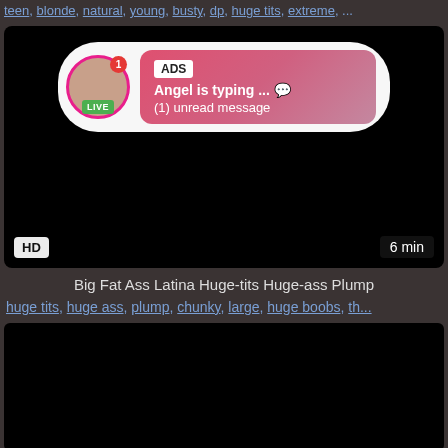teen, blonde, natural, young, busty, dp, huge tits, extreme, ...
[Figure (screenshot): Video thumbnail with dark/black background, showing an ad overlay notification with avatar circle with LIVE badge and red notification badge, pink gradient message box with ADS label, 'Angel is typing ... 💬', '(1) unread message'. HD badge bottom-left, '6 min' duration badge bottom-right.]
Big Fat Ass Latina Huge-tits Huge-ass Plump
huge tits, huge ass, plump, chunky, large, huge boobs, th...
[Figure (screenshot): Second video thumbnail, entirely black/dark background, no visible content.]